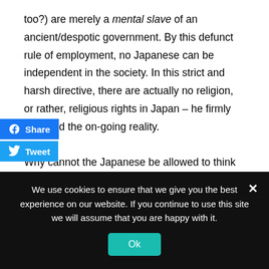too?) are merely a mental slave of an ancient/despotic government. By this defunct rule of employment, no Japanese can be independent in the society. In this strict and harsh directive, there are actually no religion, or rather, religious rights in Japan – he firmly criticized the on-going reality.

Why cannot the Japanese be allowed to think something differently, if the new way is better for their future? He went straight to the point. Disregarding the modern spirit, they all live in the artificial/unreal/second man-made world, without any progress, but only with constant shame. In this illogical/prejudiced system, everyone needs to abuse somebody irrationally, and at the same time, to be oppressed by someone baselessly, whereas the people
[Figure (other): Facebook Share button (blue) and Twitter Tweet button (blue) overlaid on left side of text]
We use cookies to ensure that we give you the best experience on our website. If you continue to use this site we will assume that you are happy with it.